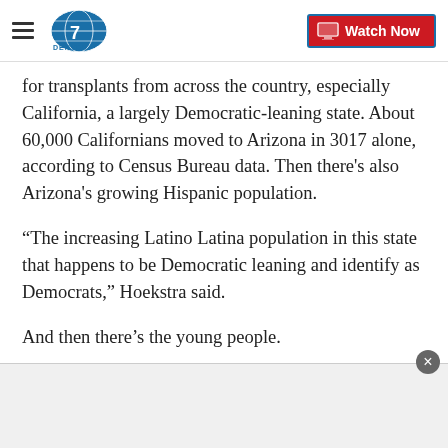Denver7 — Watch Now
for transplants from across the country, especially California, a largely Democratic-leaning state. About 60,000 Californians moved to Arizona in 3017 alone, according to Census Bureau data. Then there's also Arizona's growing Hispanic population.
“The increasing Latino Latina population in this state that happens to be Democratic leaning and identify as Democrats,” Hoekstra said.
And then there’s the young people.
[Figure (other): Advertisement banner at bottom of page with close button]